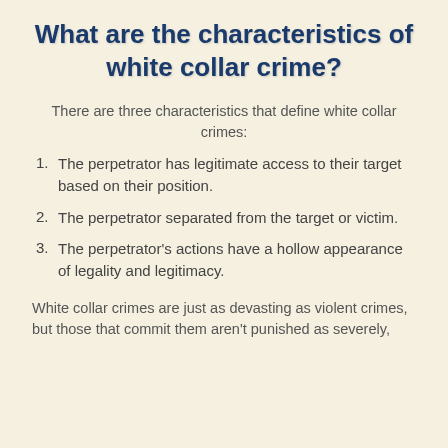What are the characteristics of white collar crime?
There are three characteristics that define white collar crimes:
The perpetrator has legitimate access to their target based on their position.
The perpetrator separated from the target or victim.
The perpetrator's actions have a hollow appearance of legality and legitimacy.
White collar crimes are just as devasting as violent crimes, but those that commit them aren't punished as severely,